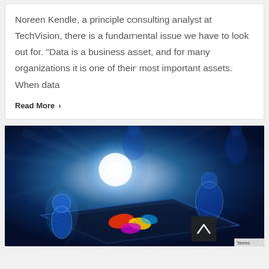Noreen Kendle, a principle consulting analyst at TechVision, there is a fundamental issue we have to look out for. “Data is a business asset, and for many organizations it is one of their most important assets. When data
Read More >
[Figure (illustration): Digital illustration showing glowing blue humanoid figures around a glowing interactive touch-screen table with colorful data visualization elements, set against a dark blue background with light rays]